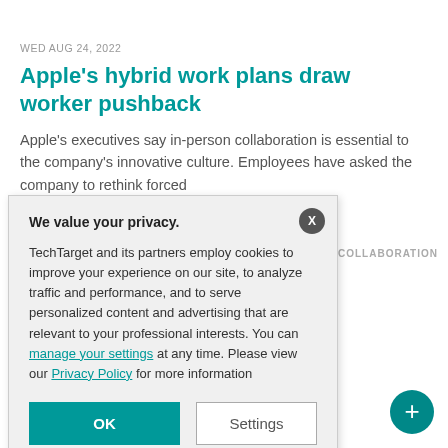WED AUG 24, 2022
Apple's hybrid work plans draw worker pushback
Apple's executives say in-person collaboration is essential to the company's innovative culture. Employees have asked the company to rethink forced
COLLABORATION
attacked by
s to their cyber
a's invasion,
e been direct
cyber attack
We value your privacy.
TechTarget and its partners employ cookies to improve your experience on our site, to analyze traffic and performance, and to serve personalized content and advertising that are relevant to your professional interests. You can manage your settings at any time. Please view our Privacy Policy for more information
OK
Settings